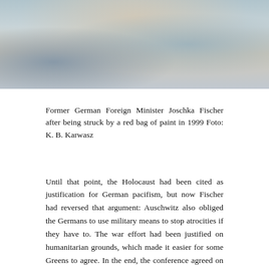[Figure (photo): Cropped photo showing people at a table, partially visible from the waist/chest up, in what appears to be a meeting or press conference setting.]
Former German Foreign Minister Joschka Fischer after being struck by a red bag of paint in 1999 Foto: K. B. Karwasz
Until that point, the Holocaust had been cited as justification for German pacifism, but now Fischer had reversed that argument: Auschwitz also obliged the Germans to use military means to stop atrocities if they have to. The war effort had been justified on humanitarian grounds, which made it easier for some Greens to agree. In the end, the conference agreed on the highly convoluted resolution into which everyone could interpret what they wanted. For Fischer, the decisive factor was that he wouldn't have to go to the